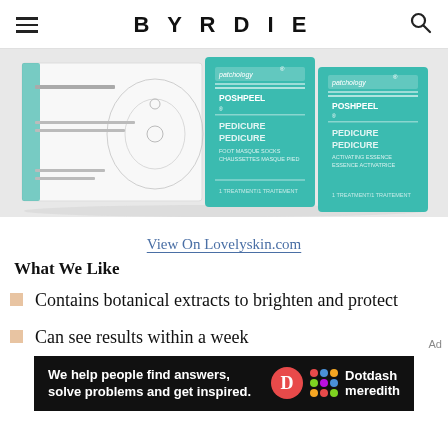BYRDIE
[Figure (photo): Patchology PoshPeel PediCure product boxes — white box on left and two teal/green branded packs on right showing 'patchology POSHPEEL PEDICURE' branding]
View On Lovelyskin.com
What We Like
Contains botanical extracts to brighten and protect
Can see results within a week
[Figure (infographic): Dotdash Meredith advertisement banner: 'We help people find answers, solve problems and get inspired.' with Dotdash Meredith logo]